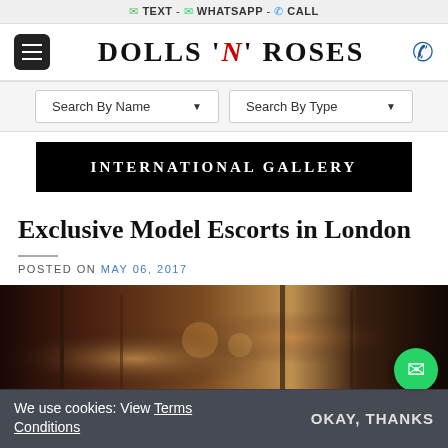TEXT  -  WHATSAPP  -  CALL
DOLLS 'N' ROSES
Search By Name   Search By Type
INTERNATIONAL GALLERY
Exclusive Model Escorts in London
POSTED ON MAY 06, 2017
[Figure (photo): Dark interior room scene with warm candlelight ambiance, bookshelves and decorative items visible]
We use cookies: View Terms Conditions
OKAY, THANKS